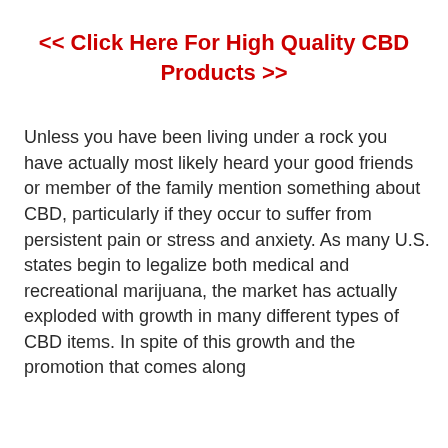<< Click Here For High Quality CBD Products >>
Unless you have been living under a rock you have actually most likely heard your good friends or member of the family mention something about CBD, particularly if they occur to suffer from persistent pain or stress and anxiety. As many U.S. states begin to legalize both medical and recreational marijuana, the market has actually exploded with growth in many different types of CBD items. In spite of this growth and the promotion that comes along